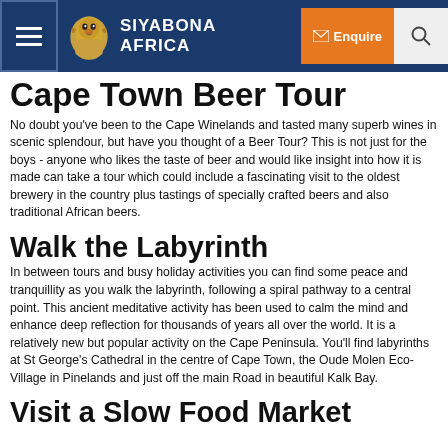Siyabona Africa — navigation header with Enquire and Search buttons
Cape Town Beer Tour
No doubt you've been to the Cape Winelands and tasted many superb wines in scenic splendour, but have you thought of a Beer Tour? This is not just for the boys - anyone who likes the taste of beer and would like insight into how it is made can take a tour which could include a fascinating visit to the oldest brewery in the country plus tastings of specially crafted beers and also traditional African beers.
Walk the Labyrinth
In between tours and busy holiday activities you can find some peace and tranquillity as you walk the labyrinth, following a spiral pathway to a central point. This ancient meditative activity has been used to calm the mind and enhance deep reflection for thousands of years all over the world. It is a relatively new but popular activity on the Cape Peninsula. You'll find labyrinths at St George's Cathedral in the centre of Cape Town, the Oude Molen Eco-Village in Pinelands and just off the main Road in beautiful Kalk Bay.
Visit a Slow Food Market